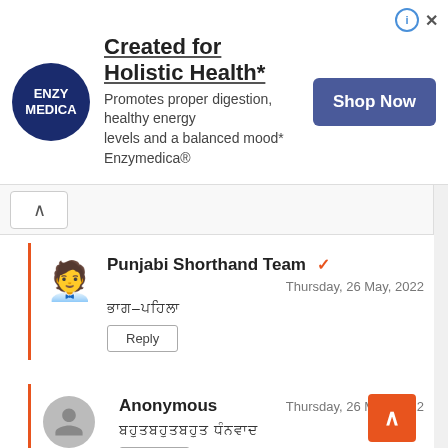[Figure (logo): Enzymedica ad banner with logo, title 'Created for Holistic Health*', subtitle text, and Shop Now button]
Punjabi Shorthand Team — Thursday, 26 May, 2022
ਭਾਗ–ਪਹਿਲਾ
Reply
Anonymous — Thursday, 26 May, 2022
ਬਹੁਤਬਹੁਤਬਹੁਤ ਧੰਨਵਾਦ
Reply
Punjabi Shorthand Team